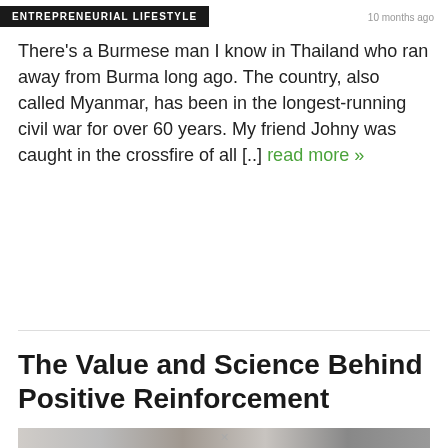ENTREPRENEURIAL LIFESTYLE
10 months ago
There’s a Burmese man I know in Thailand who ran away from Burma long ago. The country, also called Myanmar, has been in the longest-running civil war for over 60 years. My friend Johny was caught in the crossfire of all [..] read more »
The Value and Science Behind Positive Reinforcement
[Figure (photo): Partial image strip at the bottom of the page, partially visible]